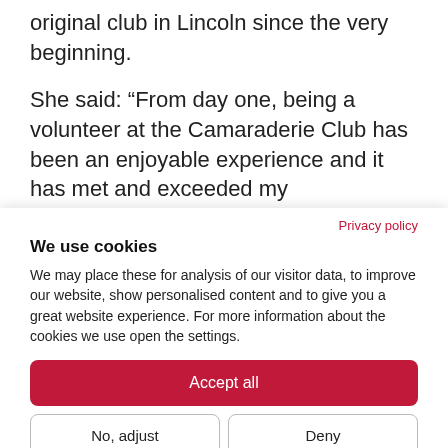original club in Lincoln since the very beginning.
She said: “From day one, being a volunteer at the Camaraderie Club has been an enjoyable experience and it has met and exceeded my expectations. The club was so relaxed for all involved and it was great to finally feel I had found something I was really passionate about. After struggling for work and living with PTSD, this felt like a real
Privacy policy
We use cookies
We may place these for analysis of our visitor data, to improve our website, show personalised content and to give you a great website experience. For more information about the cookies we use open the settings.
Accept all
No, adjust
Deny